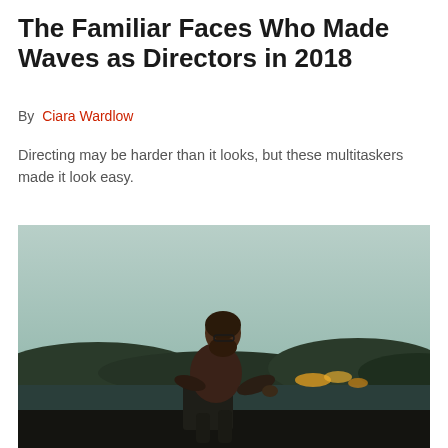The Familiar Faces Who Made Waves as Directors in 2018
By  Ciara Wardlow
Directing may be harder than it looks, but these multitaskers made it look easy.
[Figure (photo): A bearded man sitting on an elevated surface in dim outdoor evening lighting, with hills and distant lights visible in the background.]